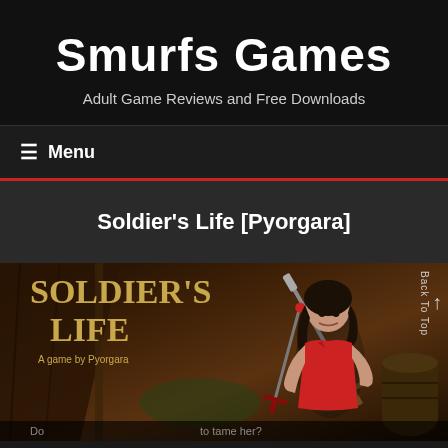Smurfs Games
Adult Game Reviews and Free Downloads
≡ Menu
Soldier's Life [Pyorgara]
[Figure (illustration): Game cover art for Soldier's Life by Pyorgara showing title text in gold serif font and a female character in red outfit with dark hair, set in a tent/camp environment with swords]
Do ... to tame her?